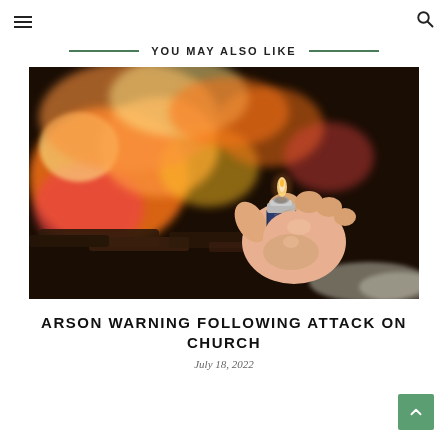≡  🔍
YOU MAY ALSO LIKE
[Figure (photo): A hand holding a lit lighter with a large fire burning in the background, bokeh effect on the flames.]
ARSON WARNING FOLLOWING ATTACK ON CHURCH
July 18, 2022